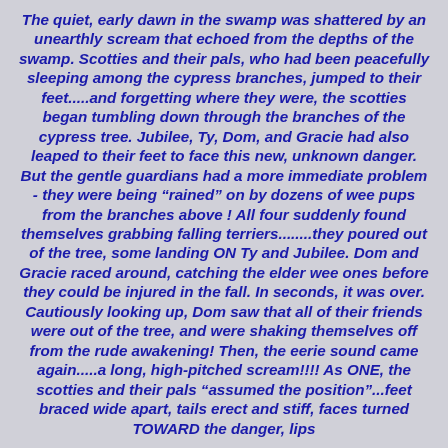The quiet, early dawn in the swamp was shattered by an unearthly scream that echoed from the depths of the swamp. Scotties and their pals, who had been peacefully sleeping among the cypress branches, jumped to their feet.....and forgetting where they were, the scotties began tumbling down through the branches of the cypress tree. Jubilee, Ty, Dom, and Gracie had also leaped to their feet to face this new, unknown danger. But the gentle guardians had a more immediate problem - they were being "rained" on by dozens of wee pups from the branches above ! All four suddenly found themselves grabbing falling terriers........they poured out of the tree, some landing ON Ty and Jubilee. Dom and Gracie raced around, catching the elder wee ones before they could be injured in the fall. In seconds, it was over. Cautiously looking up, Dom saw that all of their friends were out of the tree, and were shaking themselves off from the rude awakening! Then, the eerie sound came again.....a long, high-pitched scream!!!! As ONE, the scotties and their pals "assumed the position"...feet braced wide apart, tails erect and stiff, faces turned TOWARD the danger, lips